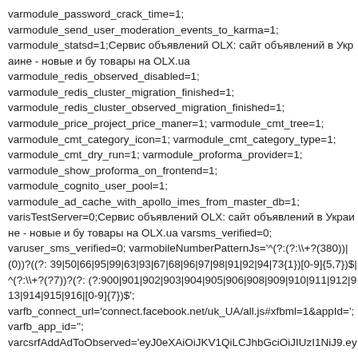varmodule_password_crack_time=1;
varmodule_send_user_moderation_events_to_karma=1;
varmodule_statsd=1;Сервис объявлений OLX: сайт объявлений в Украине - новые и бу товары на OLX.ua
varmodule_redis_observed_disabled=1;
varmodule_redis_cluster_migration_finished=1;
varmodule_redis_cluster_observed_migration_finished=1;
varmodule_price_project_price_maner=1; varmodule_cmt_tree=1;
varmodule_cmt_category_icon=1; varmodule_cmt_category_type=1;
varmodule_cmt_dry_run=1; varmodule_proforma_provider=1;
varmodule_show_proforma_on_frontend=1;
varmodule_cognito_user_pool=1;
varmodule_ad_cache_with_apollo_imes_from_master_db=1;
varisTestServer=0;Сервис объявлений OLX: сайт объявлений в Украине - новые и бу товары на OLX.ua varsms_verified=0;
varuser_sms_verified=0; varmobileNumberPatternJs='^(?:(?:\+?(380))|(0))?((?: 39|50|66|95|99|63|93|67|68|96|97|98|91|92|94|73{1})[0-9]{5,7})$|^(?:\+?(?7))?(?: (?:900|901|902|903|904|905|906|908|909|910|911|912|913|914|915|916|[0-9]{7})$';
varfb_connect_url='connect.facebook.net/uk_UA/all.js#xfbml=1&appId=';
varfb_app_id='';
varcsrfAddAdToObserved='eyJ0eXAiOiJKV1QiLCJhbGciOiJIUzI1NiJ9.ey